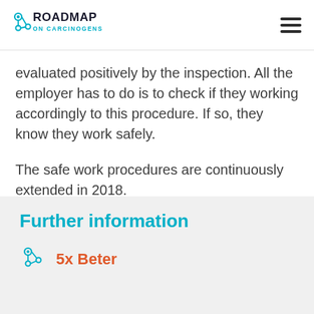ROADMAP ON CARCINOGENS
evaluated positively by the inspection. All the employer has to do is to check if they working accordingly to this procedure. If so, they know they work safely.
The safe work procedures are continuously extended in 2018.
Further information
5x Beter